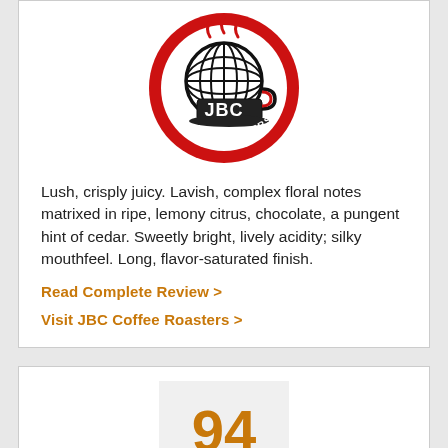[Figure (logo): JBC Coffee Roasters circular logo — red circle with globe and coffee cup, text 'JBC COFFEE ROASTERS']
Lush, crisply juicy. Lavish, complex floral notes matrixed in ripe, lemony citrus, chocolate, a pungent hint of cedar. Sweetly bright, lively acidity; silky mouthfeel. Long, flavor-saturated finish.
Read Complete Review >
Visit JBC Coffee Roasters >
[Figure (other): Score box showing 94 in orange on light gray background]
George Howell Coffee Company
Yukro Ethiopia